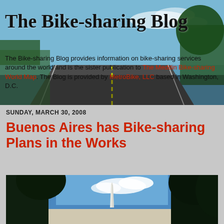The Bike-sharing Blog
The Bike-sharing Blog provides information on bike-sharing services around the world and is the sister publication to The Meddin Bike-sharing World Map. The Blog is provided by MetroBike, LLC based in Washington, D.C.
SUNDAY, MARCH 30, 2008
Buenos Aires has Bike-sharing Plans in the Works
[Figure (photo): Photo showing a monument obelisk framed by dark tree silhouettes against a blue sky with white clouds]